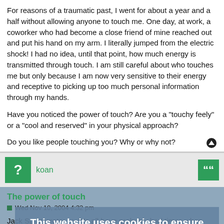For reasons of a traumatic past, I went for about a year and a half without allowing anyone to touch me. One day, at work, a coworker who had become a close friend of mine reached out and put his hand on my arm. I literally jumped from the electric shock! I had no idea, until that point, how much energy is transmitted through touch. I am still careful about who touches me but only because I am now very sensitive to their energy and receptive to picking up too much personal information through my hands.
Have you noticed the power of touch? Are you a "touchy feely" or a "cool and reserved" in your physical approach?
Do you like people touching you? Why or why not?
koan
The power of touch
Wed Nov 10, 2004 4:32 pm
Jack Sprat wrote: >> We all have probably had times when someone touched us with their hand and we felt better just from the human contact.
Why just human contact? Your picture shows you with a cat. Are not there times when you are feeling less than perfect that just touching your cat, making contact, gives you the lift you need? :-6
This website uses cookies to ensure you get the best experience on our website.  Learn more
Got it!